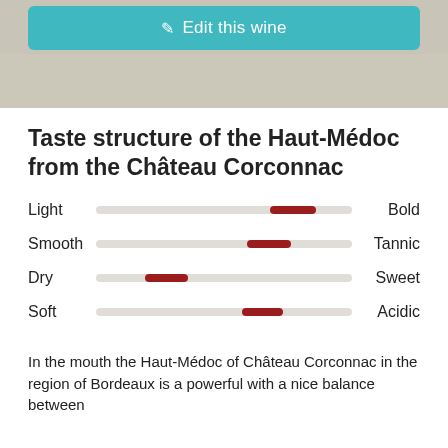[Figure (screenshot): Top banner with teal 'Edit this wine' button and a muted grey-beige background texture area]
Taste structure of the Haut-Médoc from the Château Corconnac
[Figure (infographic): Four horizontal slider bars showing wine taste attributes: Light-Bold (positioned toward Bold), Smooth-Tannic (positioned toward Tannic), Dry-Sweet (positioned slightly past Dry), Soft-Acidic (positioned toward middle-Acidic)]
In the mouth the Haut-Médoc of Château Corconnac in the region of Bordeaux is a powerful with a nice balance between